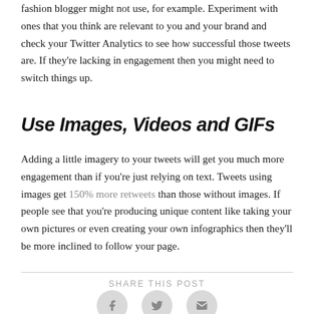fashion blogger might not use, for example. Experiment with ones that you think are relevant to you and your brand and check your Twitter Analytics to see how successful those tweets are. If they're lacking in engagement then you might need to switch things up.
Use Images, Videos and GIFs
Adding a little imagery to your tweets will get you much more engagement than if you're just relying on text. Tweets using images get 150% more retweets than those without images. If people see that you're producing unique content like taking your own pictures or even creating your own infographics then they'll be more inclined to follow your page.
SHARE THIS POST